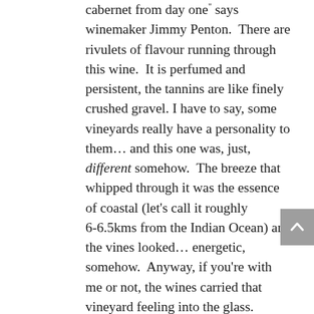cabernet from day one" says winemaker Jimmy Penton.  There are rivulets of flavour running through this wine.  It is perfumed and persistent, the tannins are like finely crushed gravel. I have to say, some vineyards really have a personality to them... and this one was, just, different somehow.  The breeze that whipped through it was the essence of coastal (let's call it roughly 6–6.5kms from the Indian Ocean) and the vines looked... energetic, somehow.  Anyway, if you're with me or not, the wines carried that vineyard feeling into the glass.
The 2015 Old Block V9 (Voyager old block, from the original plantings from 1978 – 42 years ago) cabernet was fragrant from almost a metre away, rhubarb and mulberry with salted heirloom tomatoes.  The wine was balanced and restrained with incredible power, in only an older-vine-